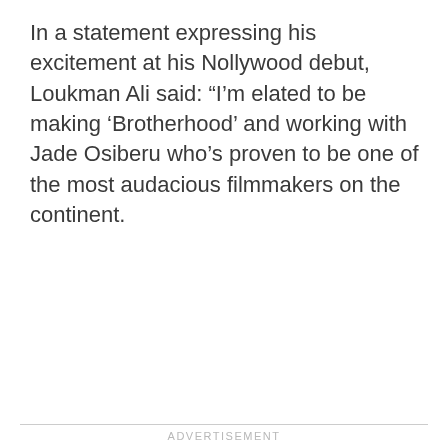In a statement expressing his excitement at his Nollywood debut, Loukman Ali said: “I’m elated to be making ‘Brotherhood’ and working with Jade Osiberu who’s proven to be one of the most audacious filmmakers on the continent.
ADVERTISEMENT
[Figure (other): Advertisement placeholder box with light gray background]